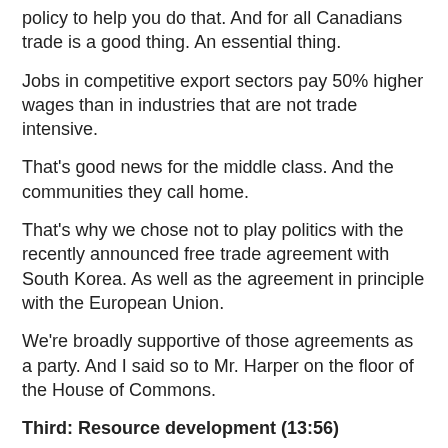policy to help you do that. And for all Canadians trade is a good thing. An essential thing.
Jobs in competitive export sectors pay 50% higher wages than in industries that are not trade intensive.
That's good news for the middle class. And the communities they call home.
That's why we chose not to play politics with the recently announced free trade agreement with South Korea. As well as the agreement in principle with the European Union.
We're broadly supportive of those agreements as a party. And I said so to Mr. Harper on the floor of the House of Commons.
Third: Resource development (13:56)
A third opportunity, and one that is also of special interest to British Columbians, has to do with Canada's natural resources. How to reconcile economic growth with environmental stewardship.